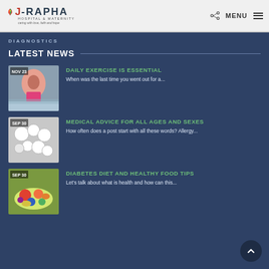J-RAPHA HOSPITAL & MATERNITY - caring with love, faith and hope | MENU
DIAGNOSTICS
LATEST NEWS
[Figure (photo): Woman jogging on beach wearing pink top, NOV 23 date label]
DAILY EXERCISE IS ESSENTIAL
When was the last time you went out for a...
[Figure (photo): White pills/tablets scattered, SEP 30 date label]
MEDICAL ADVICE FOR ALL AGES AND SEXES
How often does a post start with all these words? Allergy...
[Figure (photo): Colorful vegetables and fruits salad bowl, SEP 30 date label]
DIABETES DIET AND HEALTHY FOOD TIPS
Let’s talk about what is health and how can this...